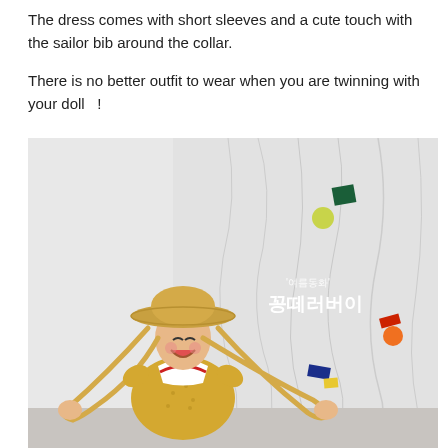The dress comes with short sleeves and a cute touch with the sailor bib around the collar.
There is no better outfit to wear when you are twinning with your doll  !
[Figure (photo): A young toddler laughing and wearing a yellow floral dress with a white and red sailor collar, a wide-brimmed straw hat, holding the hat strings wide with both arms. The background is a wrinkled white/light grey fabric sheet. On the right side of the background there is Korean text and colorful geometric confetti shapes (green rectangle, yellow circle, dark green square, orange circle, blue rectangle, yellow rectangle, red rectangle).]